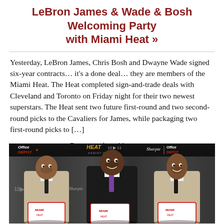LeBron James & Wade & Bosh Welcoming Party with Miami Heat »
Yesterday, LeBron James, Chris Bosh and Dwayne Wade signed six-year contracts… it's a done deal… they are members of the Miami Heat. The Heat completed sign-and-trade deals with Cleveland and Toronto on Friday night for their two newest superstars. The Heat sent two future first-round and two second-round picks to the Cavaliers for James, while packaging two first-round picks to […]
- Read More -
[Figure (photo): LeBron James, Dwayne Wade, and Chris Bosh at Miami Heat welcoming press conference, holding white Heat jerseys, in front of Heat 10-11 Assist-Card, Sharpie, and Office Depot branded banners.]